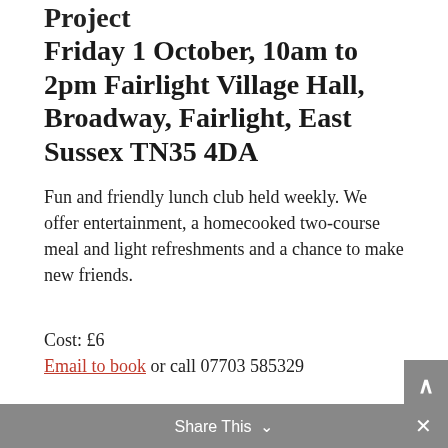Project Friday 1 October, 10am to 2pm Fairlight Village Hall, Broadway, Fairlight, East Sussex TN35 4DA
Fun and friendly lunch club held weekly. We offer entertainment, a homecooked two-course meal and light refreshments and a chance to make new friends.
Cost: £6
Email to book or call 07703 585329
Active 4 Life Information Hub – Freedom Leisure Monday 4 October, 12 noon to 2.30pm
Share This ×